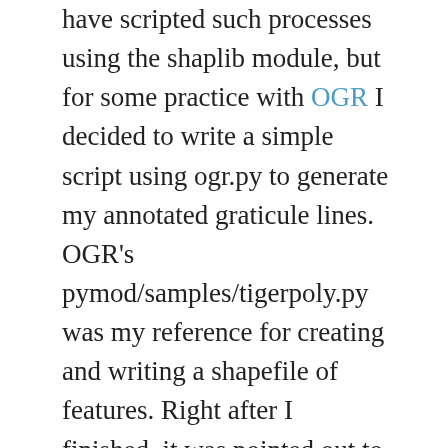have scripted such processes using the shaplib module, but for some practice with OGR I decided to write a simple script using ogr.py to generate my annotated graticule lines. OGR's pymod/samples/tigerpoly.py was my reference for creating and writing a shapefile of features. Right after I finished, it was pointed out to me that I'd overlooked the pymod/mkgraticule.py script recently committed to CVS. Still, mine has attributes for labeling. After a few more tweaks, I'll use the following script to generate parallel and meridian data to be distributed with PCL.
The graticule must consist of individual short line segments for use with MapServer, which throws out features that cannot be completely projected. This